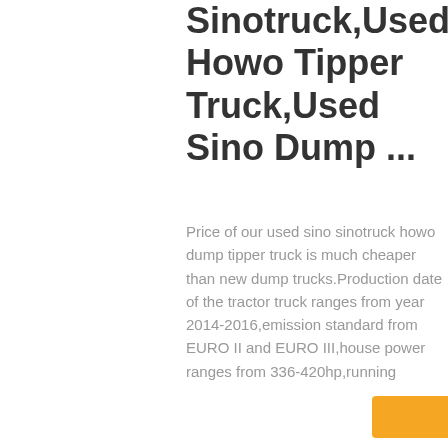Sinotruck,Used Howo Tipper Truck,Used Sino Dump ...
Price of our used sino sinotruck howo dump tipper truck is much cheaper than new dump trucks.Production date of the tractor truck ranges from year 2014-2016,emission standard from EURO II and EURO III,house power ranges from 336-420hp,running
[Figure (infographic): Right sidebar with Chat, Email, Contact, and Top buttons on dark grey background]